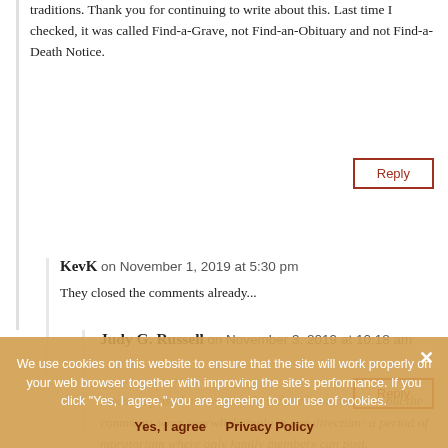traditions. Thank you for continuing to write about this. Last time I checked, it was called Find-a-Grave, not Find-an-Obituary and not Find-a-Death Notice.
Reply
KevK on November 1, 2019 at 5:30 pm
They closed the comments already...
Reply
Judy G. Russell on November 3, 2019 at 10:18 am
I was surprised at how fast they closed comments — but the comments were overwhelmingly in one direction: a period of moratorium where only family members can post.
We use cookies on this website to ensure that the site will work properly on your web browser together with improving the site's performance. If you click "Yes, I agree," you are agreeing to our use of cookies.
Yes, I agree   Privacy Policy